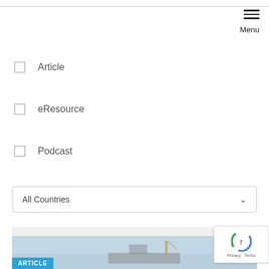Menu
Article
eResource
Podcast
All Countries
[Figure (illustration): Airplane icon with motion lines, above promotional text area]
View some of our "Go" opportunities for Ships
ARTICLE